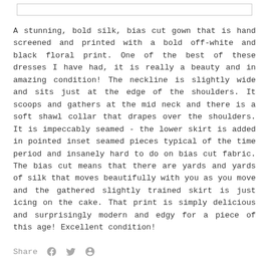A stunning, bold silk, bias cut gown that is hand screened and printed with a bold off-white and black floral print. One of the best of these dresses I have had, it is really a beauty and in amazing condition! The neckline is slightly wide and sits just at the edge of the shoulders. It scoops and gathers at the mid neck and there is a soft shawl collar that drapes over the shoulders. It is impeccably seamed - the lower skirt is added in pointed inset seamed pieces typical of the time period and insanely hard to do on bias cut fabric. The bias cut means that there are yards and yards of silk that moves beautifully with you as you move and the gathered slightly trained skirt is just icing on the cake. That print is simply delicious and surprisingly modern and edgy for a piece of this age! Excellent condition!
Share